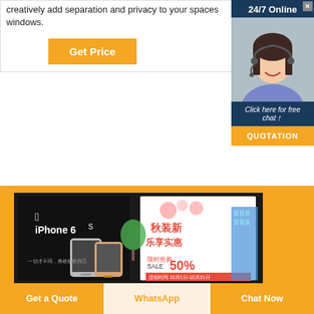creatively add separation and privacy to your spaces windows.
[Figure (other): Orange 'Get Price' button]
[Figure (other): 24/7 Online chat popup with agent photo, 'Click here for free chat!' text, and QUOTATION button]
[Figure (photo): Photo showing iPhone 6S advertisement banner and Chinese retail sale banner (50% SALE) displayed outdoors]
Get a Quote
WhatsApp
Chat Now